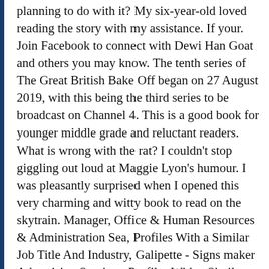planning to do with it? My six-year-old loved reading the story with my assistance. If your. Join Facebook to connect with Dewi Han Goat and others you may know. The tenth series of The Great British Bake Off began on 27 August 2019, with this being the third series to be broadcast on Channel 4. This is a good book for younger middle grade and reluctant readers. What is wrong with the rat? I couldn't stop giggling out loud at Maggie Lyon's humour. I was pleasantly surprised when I opened this very charming and witty book to read on the skytrain. Manager, Office & Human Resources & Administration Sea, Profiles With a Similar Job Title And Industry, Galipette - Signs maker Advertising Services, Profiles With a Similar Job Title And Location, Other People Whose Last Name Is Deschamps. Dewi is a kind, smart, young dragon that any reader of the book will find it hard not to fall in love with. Neither is pronounced as "dewy".Welsh name. Very well done. He hopes that it is meteorite, but it